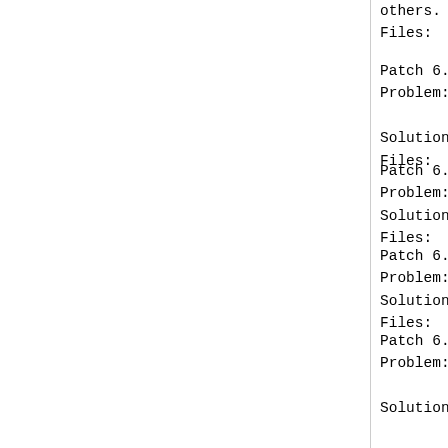others.  Detect "-h
Files:       src/netbeans.c, src/
Patch 6.2.508
Problem:     Win32: "v:lang" does
             it differs from the
Solution:    Use the value of the
Files:       src/ex_cmds2.c
Patch 6.2.509 (after 6.2.508)
Problem:     Crash when $LANG is
Solution:    Add check for NULL p
Files:       src/ex_cmds2.c
Patch 6.2.510 (after 6.2.507)
Problem:     Warning for pointer
Solution:    Add a type cast.
Files:       src/gui_gtk_x11.c
Patch 6.2.511
Problem:     Tags in Russian help
             different from 'enco
Solution:    Use the "TAG_FILE_EN
             encoding of the tags
             tag file encoding wh
             listing help tags.
Files:       runtime/doc/tagsrch